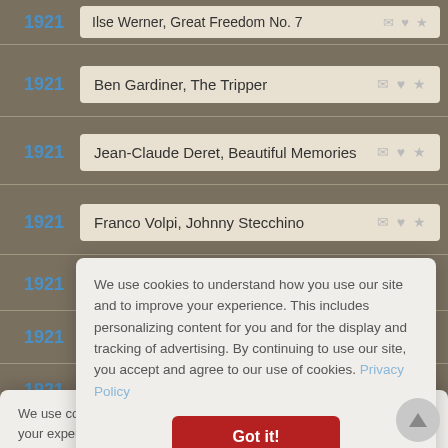1921  Ilse Werner, Great Freedom No. 7
1921  Ben Gardiner, The Tripper
1921  Jean-Claude Deret, Beautiful Memories
1921  Franco Volpi, Johnny Stecchino
We use cookies to understand how you use our site and to improve your experience. This includes personalizing content for you and for the display and tracking of advertising. By continuing to use our site, you accept and agree to our use of cookies. Privacy Policy
Got it!
Norman Abbott, Love and the Caller/Love and the